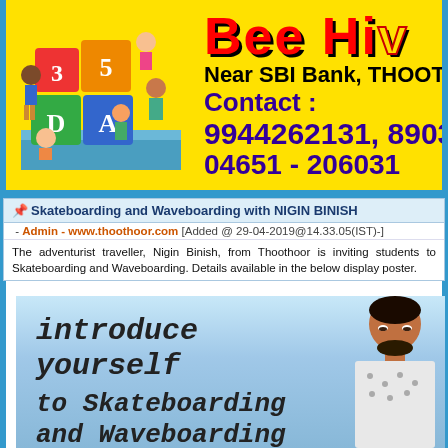[Figure (illustration): Bee Hive school advertisement banner. Yellow background with colorful children illustration on the left holding blocks numbered 3,5 and lettered A,D. Text on right: 'Bee Hive' in red, 'Near SBI Bank, THOOTH' in black, 'Contact :' in dark purple, '9944262131, 8903940' in dark purple, '04651 - 206031' in dark purple.]
Skateboarding and Waveboarding with NIGIN BINISH
- Admin - www.thoothoor.com [Added @ 29-04-2019@14.33.05(IST)-]
The adventurist traveller, Nigin Binish, from Thoothoor is inviting students to Skateboarding and Waveboarding. Details available in the below display poster.
[Figure (photo): Promotional poster with blue/sea background. Text reads 'introduce yourself to Skateboarding and Waveboarding' in italic monospace font. A young man with beard is visible on the right side of the poster.]